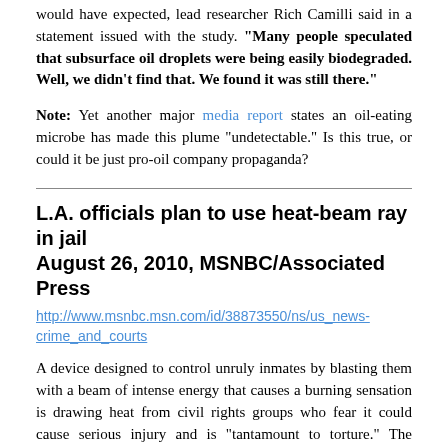would have expected, lead researcher Rich Camilli said in a statement issued with the study. "Many people speculated that subsurface oil droplets were being easily biodegraded. Well, we didn't find that. We found it was still there."
Note: Yet another major media report states an oil-eating microbe has made this plume "undetectable." Is this true, or could it be just pro-oil company propaganda?
L.A. officials plan to use heat-beam ray in jail August 26, 2010, MSNBC/Associated Press
http://www.msnbc.msn.com/id/38873550/ns/us_news-crime_and_courts
A device designed to control unruly inmates by blasting them with a beam of intense energy that causes a burning sensation is drawing heat from civil rights groups who fear it could cause serious injury and is "tantamount to torture." The mechanism, known as an "Assault Intervention Device," is a stripped-down version of a military gadget that sends highly focused beams of energy at people and makes them feel as though they are burning. The Los Angeles County sheriff's department plans to install the device by Labor Day, making it the first